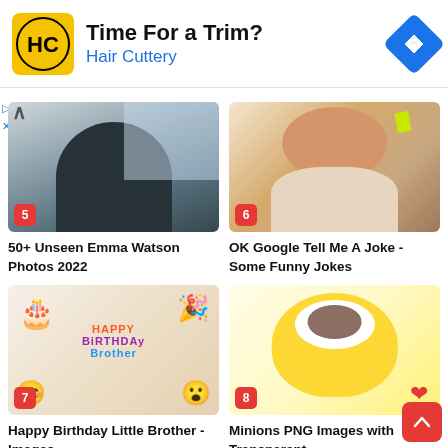[Figure (screenshot): Hair Cuttery advertisement banner with yellow logo showing HC initials, text 'Time For a Trim?' and 'Hair Cuttery', and a blue diamond navigation icon]
[Figure (photo): Photo of Emma Watson at a train station wearing a black leather jacket, labeled number 5]
50+ Unseen Emma Watson Photos 2022
[Figure (photo): Photo of a smiling bearded man taking a selfie, labeled number 6]
OK Google Tell Me A Joke - Some Funny Jokes
[Figure (photo): Happy Birthday Brother image with emoji characters wearing party hats and colorful text, labeled number 7]
Happy Birthday Little Brother - Images,
[Figure (photo): Minion PNG character with heart, labeled number 8]
Minions PNG Images with Transparent